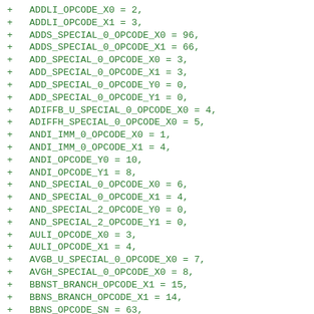+ ADDLI_OPCODE_X0 = 2,
+ ADDLI_OPCODE_X1 = 3,
+ ADDS_SPECIAL_0_OPCODE_X0 = 96,
+ ADDS_SPECIAL_0_OPCODE_X1 = 66,
+ ADD_SPECIAL_0_OPCODE_X0 = 3,
+ ADD_SPECIAL_0_OPCODE_X1 = 3,
+ ADD_SPECIAL_0_OPCODE_Y0 = 0,
+ ADD_SPECIAL_0_OPCODE_Y1 = 0,
+ ADIFFB_U_SPECIAL_0_OPCODE_X0 = 4,
+ ADIFFH_SPECIAL_0_OPCODE_X0 = 5,
+ ANDI_IMM_0_OPCODE_X0 = 1,
+ ANDI_IMM_0_OPCODE_X1 = 4,
+ ANDI_OPCODE_Y0 = 10,
+ ANDI_OPCODE_Y1 = 8,
+ AND_SPECIAL_0_OPCODE_X0 = 6,
+ AND_SPECIAL_0_OPCODE_X1 = 4,
+ AND_SPECIAL_2_OPCODE_Y0 = 0,
+ AND_SPECIAL_2_OPCODE_Y1 = 0,
+ AULI_OPCODE_X0 = 3,
+ AULI_OPCODE_X1 = 4,
+ AVGB_U_SPECIAL_0_OPCODE_X0 = 7,
+ AVGH_SPECIAL_0_OPCODE_X0 = 8,
+ BBNST_BRANCH_OPCODE_X1 = 15,
+ BBNS_BRANCH_OPCODE_X1 = 14,
+ BBNS_OPCODE_SN = 63,